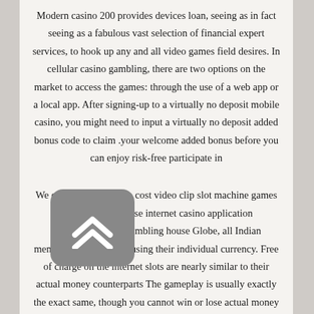Modern casino 200 provides devices loan, seeing as in fact seeing as a fabulous vast selection of financial expert services, to hook up any and all video games field desires. In cellular casino gambling, there are two options on the market to access the games: through the use of a web app or a local app. After signing-up to a virtually no deposit mobile casino, you might need to input a virtually no deposit added bonus code to claim .your welcome added bonus before you can enjoy risk-free participate in
We currently present no cost video clip slot machine games from several diverse internet casino application programmers. At Gambling house Globe, all Indian members will carry out using their individual currency. Free of charge on the internet slots are nearly similar to their actual money counterparts The gameplay is usually exactly the exact same, though you cannot win or lose actual money when taking part in free of charge Las
[Figure (illustration): A grey rounded square button with double upward chevron arrows, resembling a back-to-top navigation button]